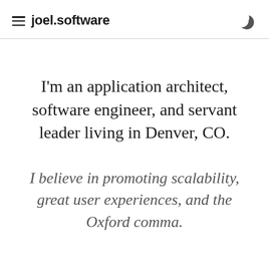joel.software
I'm an application architect, software engineer, and servant leader living in Denver, CO.
I believe in promoting scalability, great user experiences, and the Oxford comma.